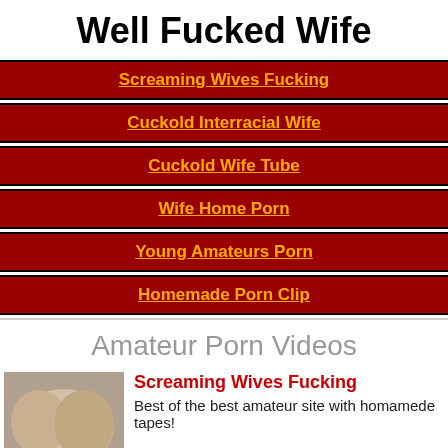Well Fucked Wife
Screaming Wives Fucking
Cuckold Interracial Wife
Cuckold Wife Tube
Wife Home Porn
Young Amateurs Porn
Homemade Porn Clip
Amateur Porn Videos
Screaming Wives Fucking
Best of the best amateur site with homamede tapes!
Homemade Sex Tube
Amateur couples having fun at videos here.